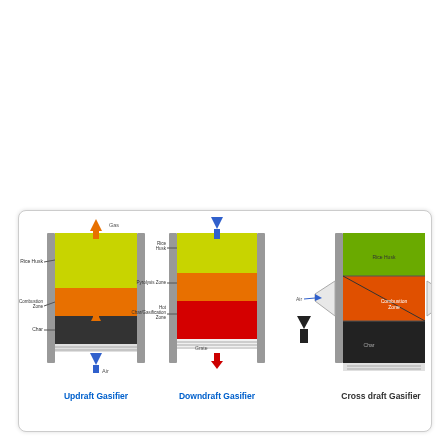[Figure (schematic): Three types of gasifiers shown side by side: Updraft Gasifier (left), Downdraft Gasifier (center), and Cross draft Gasifier (right). Each diagram shows internal zones with colored layers and arrows indicating gas/air flow directions. Updraft: yellow-green top zone (Rice Husk), orange Combustion Zone, black Char at bottom, blue air arrow up from bottom, orange gas arrow up from top. Downdraft: yellow-green Rice Husk at top, orange Pyrolysis Zone, red Hot Char/Gasification Zone, grate at bottom, blue air arrow down from top, red gas arrow down from bottom. Cross draft: green Rice Husk top-left, diagonal red-orange Combustion Zone, black Char lower-right, blue air arrow from left, orange gas arrow to right.]